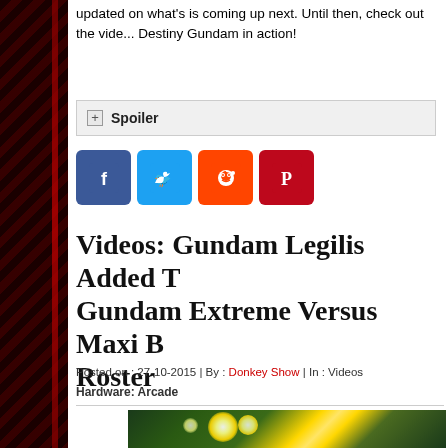updated on what's is coming up next. Until then, check out the vide... Destiny Gundam in action!
Spoiler
[Figure (other): Social share icons: Facebook, Twitter, Reddit, Pinterest]
Videos: Gundam Legilis Added T... Gundam Extreme Versus Maxi B... Roster
Posted on : 27-10-2015 | By : Donkey Show | In : Videos
Hardware: Arcade
[Figure (photo): Thumbnail image showing Gundam game screenshot with bright yellow/green light effects]